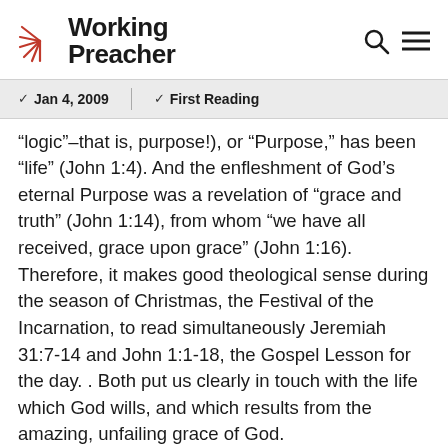Working Preacher
Jan 4, 2009   First Reading
“logic”–that is, purpose!), or “Purpose,” has been “life” (John 1:4). And the enfleshment of God’s eternal Purpose was a revelation of “grace and truth” (John 1:14), from whom “we have all received, grace upon grace” (John 1:16). Therefore, it makes good theological sense during the season of Christmas, the Festival of the Incarnation, to read simultaneously Jeremiah 31:7-14 and John 1:1-18, the Gospel Lesson for the day. . Both put us clearly in touch with the life which God wills, and which results from the amazing, unfailing grace of God.